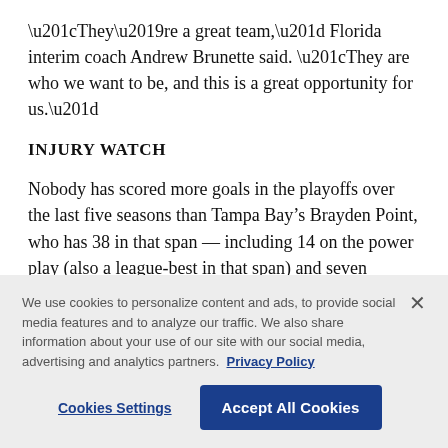“They’re a great team,” Florida interim coach Andrew Brunette said. “They are who we want to be, and this is a great opportunity for us.”
INJURY WATCH
Nobody has scored more goals in the playoffs over the last five seasons than Tampa Bay’s Brayden Point, who has 38 in that span — including 14 on the power play (also a league-best in that span) and seven gamewinners, tying the most of anyone in the last five
We use cookies to personalize content and ads, to provide social media features and to analyze our traffic. We also share information about your use of our site with our social media, advertising and analytics partners. Privacy Policy
Cookies Settings    Accept All Cookies